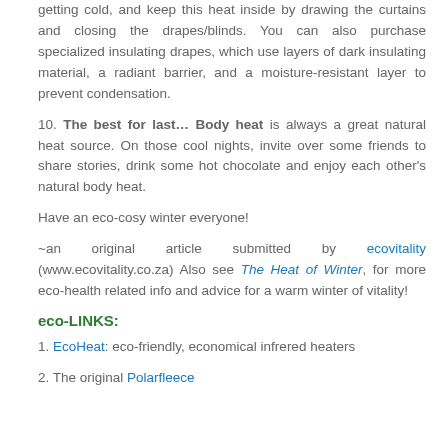getting cold, and keep this heat inside by drawing the curtains and closing the drapes/blinds. You can also purchase specialized insulating drapes, which use layers of dark insulating material, a radiant barrier, and a moisture-resistant layer to prevent condensation.
10. The best for last… Body heat is always a great natural heat source. On those cool nights, invite over some friends to share stories, drink some hot chocolate and enjoy each other's natural body heat.
Have an eco-cosy winter everyone!
~an original article submitted by ecovitality (www.ecovitality.co.za) Also see The Heat of Winter, for more eco-health related info and advice for a warm winter of vitality!
eco-LINKS:
1. EcoHeat: eco-friendly, economical infrered heaters
2. The original Polarfleece